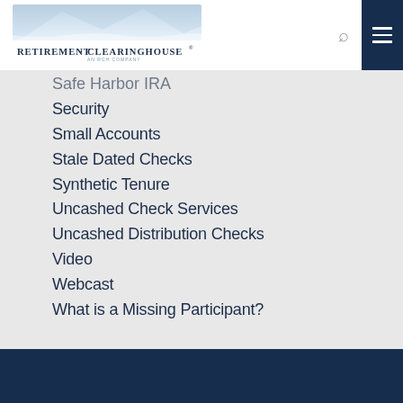[Figure (logo): Retirement Clearinghouse logo with mountain/wave graphic above text]
Safe Harbor IRA
Security
Small Accounts
Stale Dated Checks
Synthetic Tenure
Uncashed Check Services
Uncashed Distribution Checks
Video
Webcast
What is a Missing Participant?